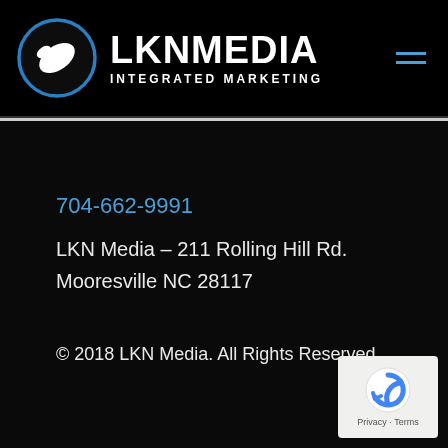[Figure (logo): LKN Media Integrated Marketing logo — circular globe icon with blue outline and white landmass/swoosh, followed by LKN MEDIA in bold white uppercase and INTEGRATED MARKETING below in white uppercase letters. Hamburger menu icon in blue on right.]
704-662-9991
LKN Media – 211 Rolling Hill Rd.
Mooresville NC 28117
© 2018 LKN Media. All Rights Reserved.